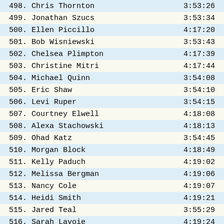| Rank. Name | Time |
| --- | --- |
| 498. Chris Thornton | 3:53:26 |
| 499. Jonathan Szucs | 3:53:34 |
| 500. Ellen Piccillo | 4:17:20 |
| 501. Bob Wisniewski | 3:53:43 |
| 502. Chelsea Plimpton | 4:17:39 |
| 503. Christine Mitri | 4:17:44 |
| 504. Michael Quinn | 3:54:08 |
| 505. Eric Shaw | 3:54:10 |
| 506. Levi Ruper | 3:54:15 |
| 507. Courtney Elwell | 4:18:08 |
| 508. Alexa Stachowski | 4:18:13 |
| 509. Ohad Katz | 3:54:45 |
| 510. Morgan Block | 4:18:49 |
| 511. Kelly Paduch | 4:19:02 |
| 512. Melissa Bergman | 4:19:06 |
| 513. Nancy Cole | 4:19:07 |
| 514. Heidi Smith | 4:19:21 |
| 515. Jared Teal | 3:55:29 |
| 516. Sarah Lavoie | 4:19:24 |
| 517. Stephen Taberski | 3:55:33 |
| 518. Nicole Martin | 4:19:51 |
| 519. Emma Macdonald | 4:19:54 |
| 520. Salvatore Piazza | 3:56:08 |
| 521. Nate Gulley | 3:56:12 |
| 522. Melissa Andersen | 4:20:22 |